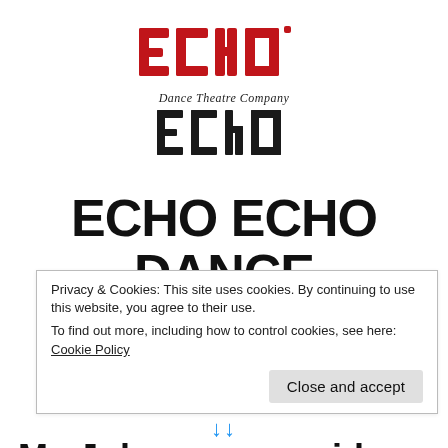[Figure (logo): Echo Echo Dance Theatre Company logo — two stacked wordmarks: 'echo' in red blocky letters on top, 'Dance Theatre Company' in script below, then 'ECho' in dark distressed letters at bottom]
ECHO ECHO DANCE THEATRE COMPANY
My Johansson residency
Privacy & Cookies: This site uses cookies. By continuing to use this website, you agree to their use.
To find out more, including how to control cookies, see here: Cookie Policy